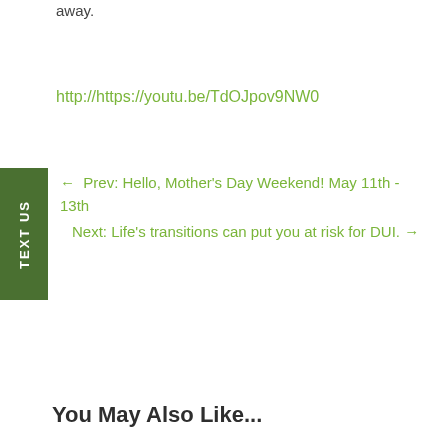away.
http://https://youtu.be/TdOJpov9NW0
← Prev: Hello, Mother's Day Weekend! May 11th - 13th
Next: Life's transitions can put you at risk for DUI. →
You May Also Like...